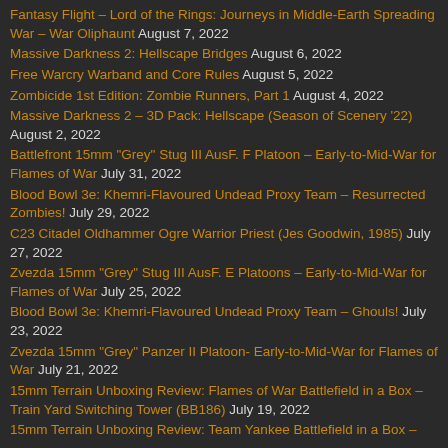Fantasy Flight – Lord of the Rings: Journeys in Middle-Earth Spreading War – War Oliphaunt August 7, 2022
Massive Darkness 2: Hellscape Bridges August 6, 2022
Free Warcry Warband and Core Rules August 5, 2022
Zombicide 1st Edition: Zombie Runners, Part 1 August 4, 2022
Massive Darkness 2 – 3D Pack: Hellscape (Season of Scenery '22) August 2, 2022
Battlefront 15mm "Grey" Stug III AusF. F Platoon – Early-to-Mid-War for Flames of War July 31, 2022
Blood Bowl 3e: Khemri-Flavoured Undead Proxy Team – Resurrected Zombies! July 29, 2022
C23 Citadel Oldhammer Ogre Warrior Priest (Jes Goodwin, 1985) July 27, 2022
Zvezda 15mm "Grey" Stug III AusF. E Platoons – Early-to-Mid-War for Flames of War July 25, 2022
Blood Bowl 3e: Khemri-Flavoured Undead Proxy Team – Ghouls! July 23, 2022
Zvezda 15mm "Grey" Panzer II Platoon- Early-to-Mid-War for Flames of War July 21, 2022
15mm Terrain Unboxing Review: Flames of War Battlefield in a Box – Train Yard Switching Tower (BB186) July 19, 2022
15mm Terrain Unboxing Review: Team Yankee Battlefield in a Box –